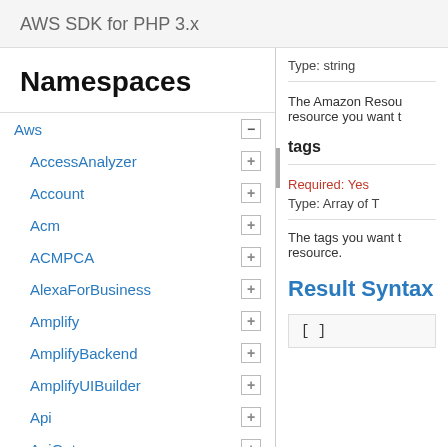AWS SDK for PHP 3.x
Namespaces
Aws
AccessAnalyzer
Account
Acm
ACMPCA
AlexaForBusiness
Amplify
AmplifyBackend
AmplifyUIBuilder
Api
ApiGateway
ApiGatewayManagementApi
Type: string
The Amazon Resou resource you want t
tags
Required: Yes
Type: Array of T
The tags you want t resource.
Result Syntax
[ ]